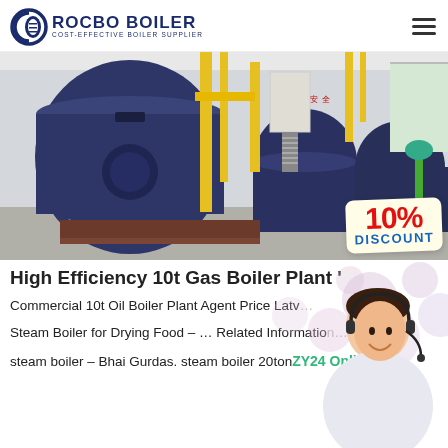ROCBO BOILER — COST-EFFECTIVE BOILER SUPPLIER
[Figure (photo): Industrial gas boiler plant interior with multiple large cylindrical blue boilers, yellow piping, and a 10% DISCOUNT badge overlay in bottom right corner]
High Efficiency 10t Gas Boiler Plant '
Commercial 10t Oil Boiler Plant Agent Price Latv... Steam Boiler for Drying Food – … Related Information... /nr steam boiler – Bhai Gurdas. steam boiler 20ton...